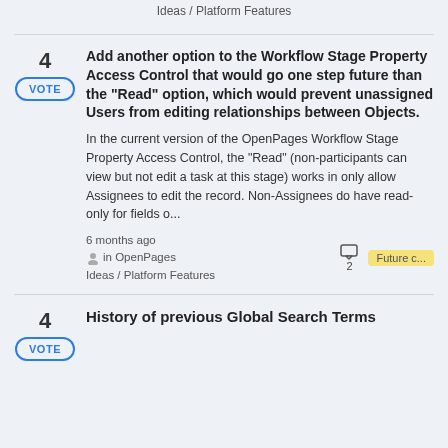Ideas / Platform Features
4
VOTE
Add another option to the Workflow Stage Property Access Control that would go one step future than the "Read" option, which would prevent unassigned Users from editing relationships between Objects.
In the current version of the OpenPages Workflow Stage Property Access Control, the "Read" (non-participants can view but not edit a task at this stage) works in only allow Assignees to edit the record. Non-Assignees do have read-only for fields o...
6 months ago
in OpenPages
Ideas / Platform Features
2
Future c...
4
VOTE
History of previous Global Search Terms